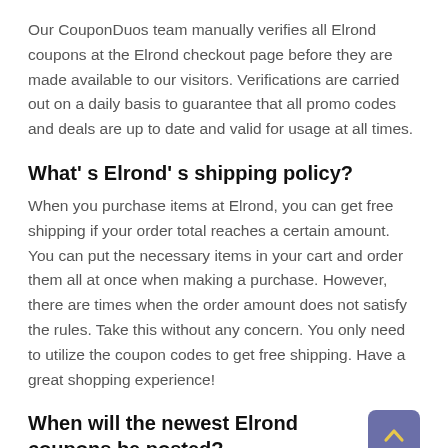Our CouponDuos team manually verifies all Elrond coupons at the Elrond checkout page before they are made available to our visitors. Verifications are carried out on a daily basis to guarantee that all promo codes and deals are up to date and valid for usage at all times.
What's Elrond's shipping policy?
When you purchase items at Elrond, you can get free shipping if your order total reaches a certain amount. You can put the necessary items in your cart and order them all at once when making a purchase. However, there are times when the order amount does not satisfy the rules. Take this without any concern. You only need to utilize the coupon codes to get free shipping. Have a great shopping experience!
When will the newest Elrond coupons be posted?